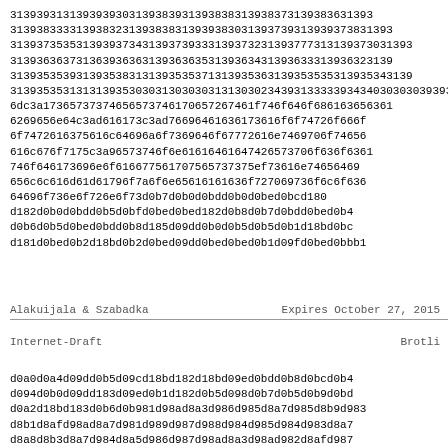3139393131393939303139383931393838313938373139383631393139383333139383231393838313939383009139373931393738313931393735313939373431393739333139373231393737313139373031391393636371313936363613936353139363431393633313936323131393536391313935383131393537313939353631393535313935343131393531313139353031300303013032343133393430030030391396dc3a173657374656573746170657267746f646f686163656361626965656e64c3ad616173c3ad76696461636173616f6f74726f666f6f7472616375616c645696a6f7369646f67772616e7469706f746561616c676f7175c3a96573746f6e6165616c61644f747265573706f636f6361376f646173696e6f616677561707565737375ef73616e74656469656c6c616d61d61796f7a6f6e65616161636f727069736f6c6f636161636f64696f736e6f726e6f73d0b7d0b0d0bdd0b0d0bed0bcd180d182d0b0d0bdd0b5d0bfd0bed0bed182d0b8d0b7d0bdd0bed0b4d0b6d0b5d0bed0bdd0b8d185d09dd0b0d0b5d0b5d0b1d18bd0bcd181d0bed0b2d18bd0b2d0bed09dd0bed0bed0b1d09fd0bed0bbd181
Alakuijala & Szabadka   Expires October 27, 2015
Internet-Draft                              Brotli
d0a0d0a4d09dd0b5d09cd18bd182d18bd09ed0bdd0b8d0bcd0b4d094d0b0d09dd183d09ed0b1d182d0b5d098d0b7d0b5d0b9d0bdd0a2d18bd183d0b6d0b981d98ad8a3d986d985d8a7d985d8b9d9838d8b1d8afd98ad8a7d981d989d987d988d984d985d984d983d8a7d8a8d8b3d8a7d984d8a5d986d987d98ad8a3d98ad982d8afd987